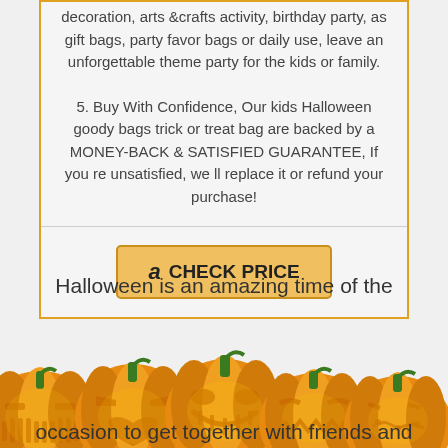decoration, arts &crafts activity, birthday party, as gift bags, party favor bags or daily use, leave an unforgettable theme party for the kids or family.
5. Buy With Confidence, Our kids Halloween goody bags trick or treat bag are backed by a MONEY-BACK & SATISFIED GUARANTEE, If you re unsatisfied, we ll replace it or refund your purchase!
[Figure (other): Amazon CHECK PRICE button with Amazon logo]
Halloween is an amazing time of the
[Figure (illustration): Row of five jack-o-lantern pumpkin emoji/illustrations with various carved faces, orange with green stems]
occasion to get together with friends and